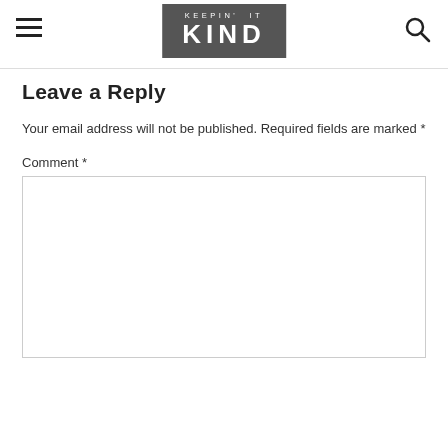KEEPIN' IT KIND
Leave a Reply
Your email address will not be published. Required fields are marked *
Comment *